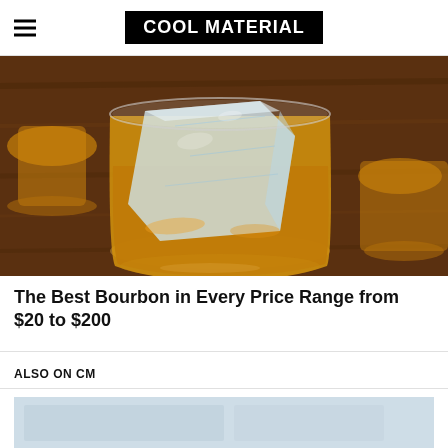COOL MATERIAL
[Figure (photo): Two glasses of bourbon whiskey on the rocks on a wooden surface, close-up showing large ice cubes in an amber-colored spirit]
The Best Bourbon in Every Price Range from $20 to $200
ALSO ON CM
[Figure (photo): Partial view of another article image, light blue/grey tones]